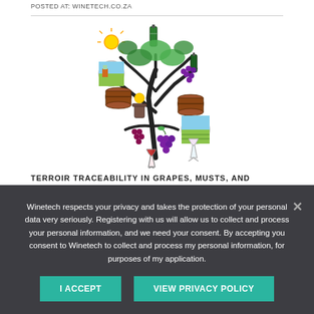POSTED AT: WINETECH.CO.ZA
[Figure (illustration): A decorative tree illustration with wine and vineyard themed items: wine bottles, barrels, grapes, vineyard landscapes, wine glass, leaves, sun, and other winery-related objects forming the tree canopy and branches.]
TERROIR TRACEABILITY IN GRAPES, MUSTS, AND
Winetech respects your privacy and takes the protection of your personal data very seriously. Registering with us will allow us to collect and process your personal information, and we need your consent. By accepting you consent to Winetech to collect and process my personal information, for purposes of my application.